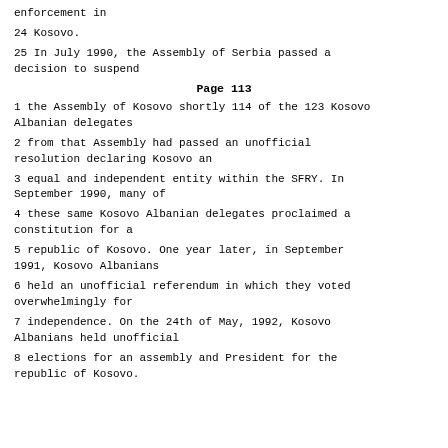enforcement in
24 Kosovo.
25 In July 1990, the Assembly of Serbia passed a decision to suspend
Page 113
1 the Assembly of Kosovo shortly 114 of the 123 Kosovo Albanian delegates
2 from that Assembly had passed an unofficial resolution declaring Kosovo an
3 equal and independent entity within the SFRY. In September 1990, many of
4 these same Kosovo Albanian delegates proclaimed a constitution for a
5 republic of Kosovo. One year later, in September 1991, Kosovo Albanians
6 held an unofficial referendum in which they voted overwhelmingly for
7 independence. On the 24th of May, 1992, Kosovo Albanians held unofficial
8 elections for an assembly and President for the republic of Kosovo.